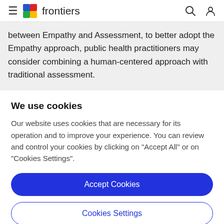frontiers
between Empathy and Assessment, to better adopt the Empathy approach, public health practitioners may consider combining a human-centered approach with traditional assessment.
We use cookies
Our website uses cookies that are necessary for its operation and to improve your experience. You can review and control your cookies by clicking on "Accept All" or on "Cookies Settings".
Accept Cookies
Cookies Settings